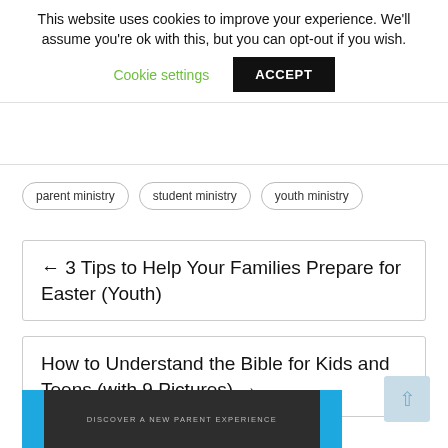This website uses cookies to improve your experience. We'll assume you're ok with this, but you can opt-out if you wish.
Cookie settings   ACCEPT
parent ministry
student ministry
youth ministry
← 3 Tips to Help Your Families Prepare for Easter (Youth)
How to Understand the Bible for Kids and Teens (with 9 Pictures) →
[Figure (screenshot): Bottom banner image with blue borders and dark center section reading DISCOVER A NEW PARENT EXPERIENCE]